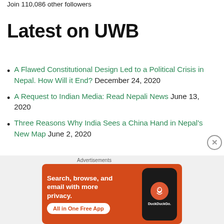Join 110,086 other followers
Latest on UWB
A Flawed Constitutional Design Led to a Political Crisis in Nepal. How Will it End? December 24, 2020
A Request to Indian Media: Read Nepali News June 13, 2020
Three Reasons Why India Sees a China Hand in Nepal's New Map June 2, 2020
[Figure (screenshot): DuckDuckGo advertisement banner: orange background with white text 'Search, browse, and email with more privacy. All in One Free App' and image of phone with DuckDuckGo logo]